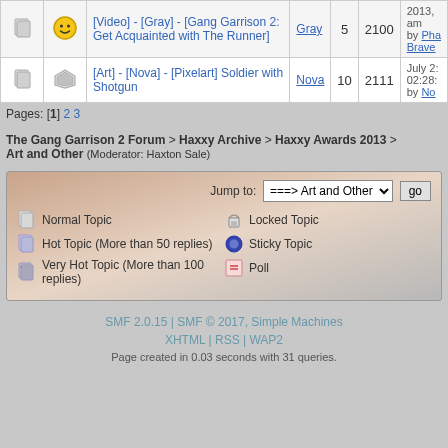|  |  | Topic | Author | Replies | Views | Last post |
| --- | --- | --- | --- | --- | --- | --- |
|  | [smiley] | [Video] - [Gray] - [Gang Garrison 2: Get Acquainted with The Runner] | Gray | 5 | 2100 | 2013, am by Pha Brave |
|  | [art-icon] | [Art] - [Nova] - [Pixelart] Soldier with Shotgun | Nova | 10 | 2111 | July 2: 02:28: by No |
Pages: [1] 2 3
The Gang Garrison 2 Forum > Haxxy Archive > Haxxy Awards 2013 > Art and Other (Moderator: Haxton Sale)
Jump to: ===> Art and Other  go
Normal Topic
Hot Topic (More than 50 replies)
Very Hot Topic (More than 100 replies)
Locked Topic
Sticky Topic
Poll
SMF 2.0.15 | SMF © 2017, Simple Machines
XHTML | RSS | WAP2
Page created in 0.03 seconds with 31 queries.